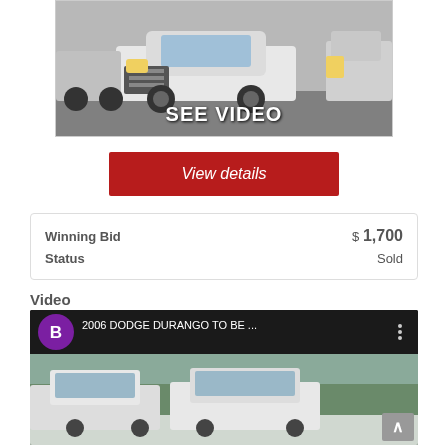[Figure (photo): White 2006 Dodge Durango SUV in a lot with text overlay 'SEE VIDEO']
View details
| Winning Bid | $ 1,700 |
| Status | Sold |
Video
[Figure (screenshot): YouTube video thumbnail showing 2006 Dodge Durango in snowy lot, titled '2006 DODGE DURANGO TO BE ...']